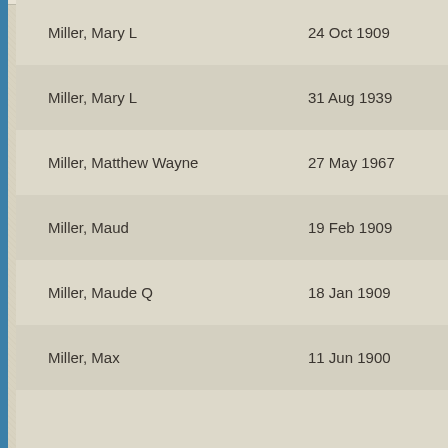| Name | Date |
| --- | --- |
| Miller, Mary L | 24 Oct 1909 |
| Miller, Mary L | 31 Aug 1939 |
| Miller, Matthew Wayne | 27 May 1967 |
| Miller, Maud | 19 Feb 1909 |
| Miller, Maude Q | 18 Jan 1909 |
| Miller, Max | 11 Jun 1900 |